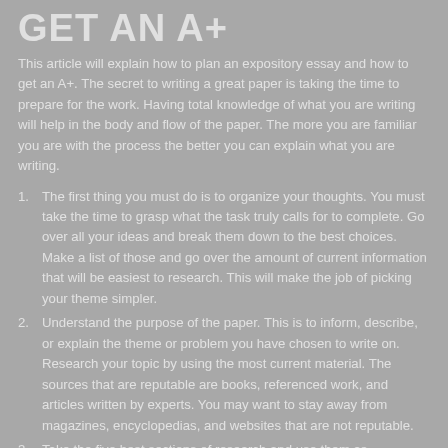GET AN A+
This article will explain how to plan an expository essay and how to get an A+. The secret to writing a great paper is taking the time to prepare for the work. Having total knowledge of what you are writing will help in the body and flow of the paper. The more you are familiar you are with the process the better you can explain what you are writing.
The first thing you must do is to organize your thoughts. You must take the time to grasp what the task truly calls for to complete. Go over all your ideas and break them down to the best choices. Make a list of those and go over the amount of current information that will be easiest to research. This will make the job of picking your theme simpler.
Understand the purpose of the paper. This is to inform, describe, or explain the theme or problem you have chosen to write on. Research your topic by using the most current material. The sources that are reputable are books, referenced work, and articles written by experts. You may want to stay away from magazines, encyclopedias, and websites that are not reputable.
Take the five best sections of research and use them as